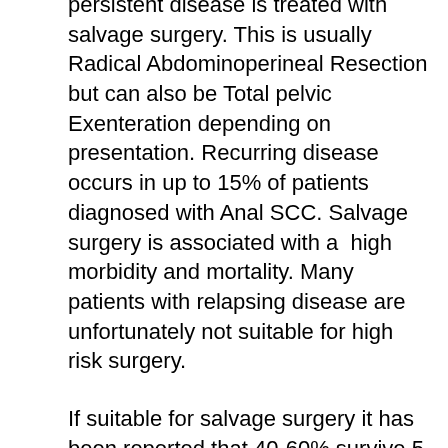persistent disease is treated with salvage surgery. This is usually Radical Abdominoperineal Resection but can also be Total pelvic Exenteration depending on presentation. Recurring disease occurs in up to 15% of patients diagnosed with Anal SCC. Salvage surgery is associated with a high morbidity and mortality. Many patients with relapsing disease are unfortunately not suitable for high risk surgery.
If suitable for salvage surgery it has been reported that 40-60% survive 5 years compared to a 5% 3 year survival rate if salvage surgery is not attempted.
An abdominoperineal resection for recurrent and persistent disease is associated with low post-operative mortality risk (3%) however, there is a risk of up to 70% of delayed wound healing, perineal hernias (15%) and up to 20% risk of significant cardiovascular or respiratory complications.